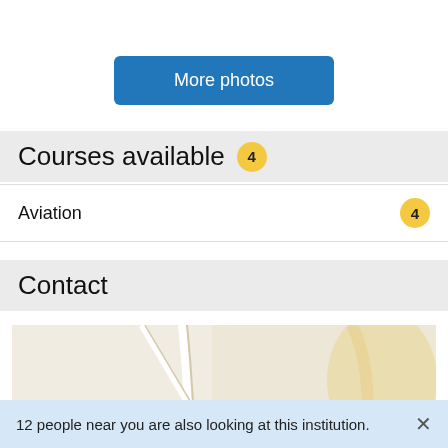[Figure (other): Blue 'More photos' button]
Courses available 4
Aviation 4
Contact
[Figure (map): Map showing location of institution]
12 people near you are also looking at this institution.